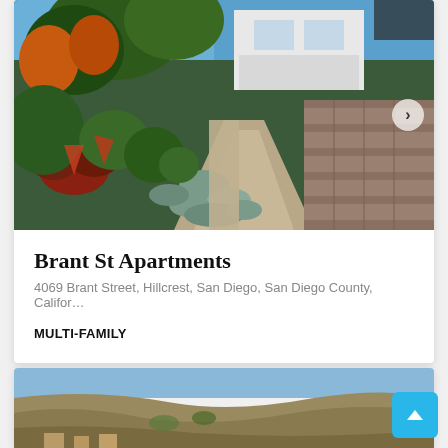[Figure (photo): Outdoor garden pathway with drought-tolerant plants, colorful shrubs, succulents, and a stone retaining wall leading to a white apartment building. Blue sky visible in background.]
Brant St Apartments
4069 Brant Street, Hillcrest, San Diego, San Diego County, Califor…
MULTI-FAMILY
[Figure (photo): Aerial photo of a hillside landscape with dry hills and some structures visible at the bottom edge.]